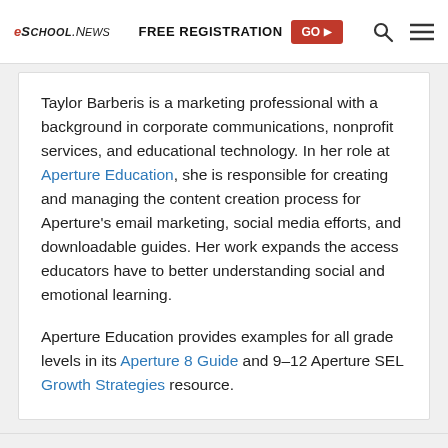eSchool News | FREE REGISTRATION GO ▶
Taylor Barberis is a marketing professional with a background in corporate communications, nonprofit services, and educational technology. In her role at Aperture Education, she is responsible for creating and managing the content creation process for Aperture's email marketing, social media efforts, and downloadable guides. Her work expands the access educators have to better understanding social and emotional learning.

Aperture Education provides examples for all grade levels in its Aperture 8 Guide and 9–12 Aperture SEL Growth Strategies resource.